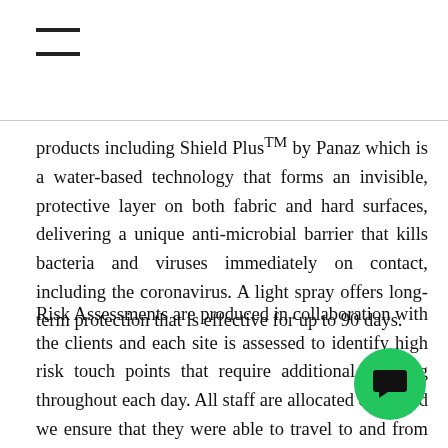≡
products including Shield PlusTM by Panaz which is a water-based technology that forms an invisible, protective layer on both fabric and hard surfaces, delivering a unique anti-microbial barrier that kills bacteria and viruses immediately on contact, including the coronavirus. A light spray offers long-term protection that is effective for up to 90 days.
Risk Assessments are produced in collaboration with the clients and each site is assessed to identify high risk touch points that require additional cleaning throughout each day. All staff are allocated corre and we ensure that they were able to travel to and from sites safely.